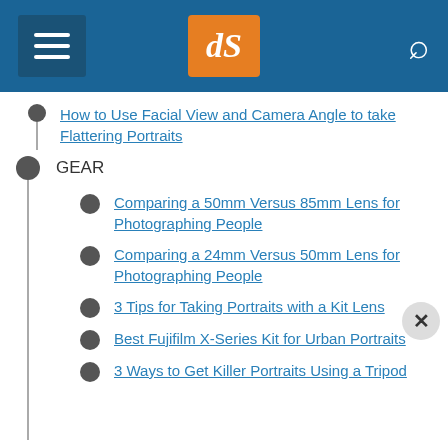dPS navigation header
How to Use Facial View and Camera Angle to take Flattering Portraits
GEAR
Comparing a 50mm Versus 85mm Lens for Photographing People
Comparing a 24mm Versus 50mm Lens for Photographing People
3 Tips for Taking Portraits with a Kit Lens
Best Fujifilm X-Series Kit for Urban Portraits
3 Ways to Get Killer Portraits Using a Tripod